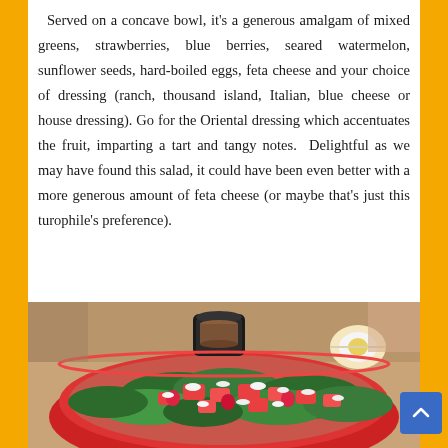Served on a concave bowl, it's a generous amalgam of mixed greens, strawberries, blue berries, seared watermelon, sunflower seeds, hard-boiled eggs, feta cheese and your choice of dressing (ranch, thousand island, Italian, blue cheese or house dressing). Go for the Oriental dressing which accentuates the fruit, imparting a tart and tangy notes. Delightful as we may have found this salad, it could have been even better with a more generous amount of feta cheese (or maybe that's just this turophile's preference).
[Figure (photo): A red bowl filled with mixed greens salad topped with watermelon chunks, strawberries, feta cheese crumbles, and a hard-boiled egg. A small cup of dressing is placed at the back of the bowl.]